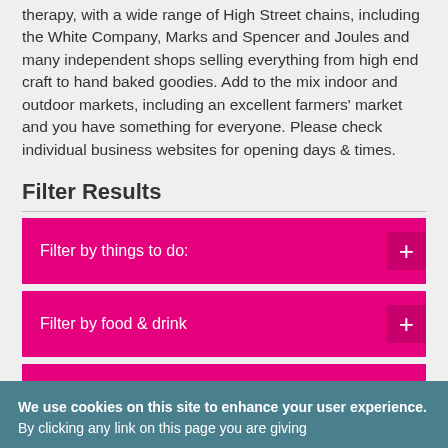therapy, with a wide range of High Street chains, including the White Company, Marks and Spencer and Joules and many independent shops selling everything from high end craft to hand baked goodies. Add to the mix indoor and outdoor markets, including an excellent farmers' market and you have something for everyone. Please check individual business websites for opening days & times.
Filter Results
Filter by things to do:
Filter by food & drink
We use cookies on this site to enhance your user experience. By clicking any link on this page you are giving